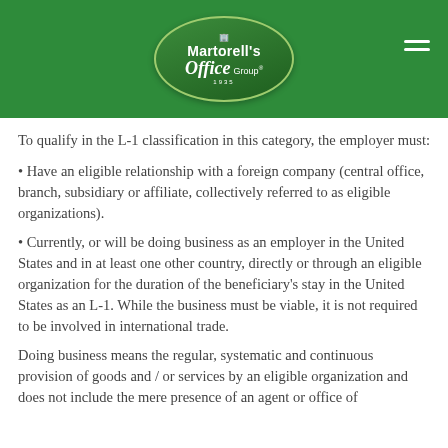Martorell's Office Group
To qualify in the L-1 classification in this category, the employer must:
• Have an eligible relationship with a foreign company (central office, branch, subsidiary or affiliate, collectively referred to as eligible organizations).
• Currently, or will be doing business as an employer in the United States and in at least one other country, directly or through an eligible organization for the duration of the beneficiary's stay in the United States as an L-1. While the business must be viable, it is not required to be involved in international trade.
Doing business means the regular, systematic and continuous provision of goods and / or services by an eligible organization and does not include the mere presence of an agent or office of